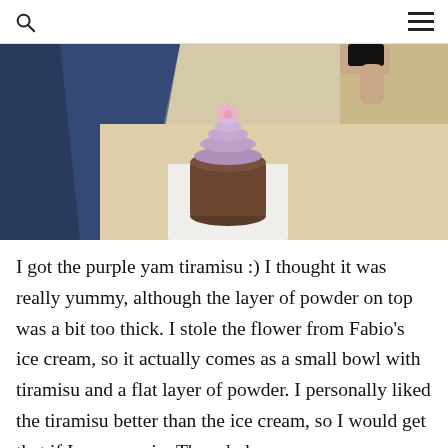[Figure (photo): A light wooden table with a small dark brown ceramic bowl/cup containing a whipped purple yam dessert (tiramisu) topped with a small pink flower, placed on a white square napkin. A hand holding a phone is visible in the upper right. Blue fabric and a beige seat visible in the background.]
I got the purple yam tiramisu :) I thought it was really yummy, although the layer of powder on top was a bit too thick. I stole the flower from Fabio's ice cream, so it actually comes as a small bowl with tiramisu and a flat layer of powder. I personally liked the tiramisu better than the ice cream, so I would get that if I came again. They do have a